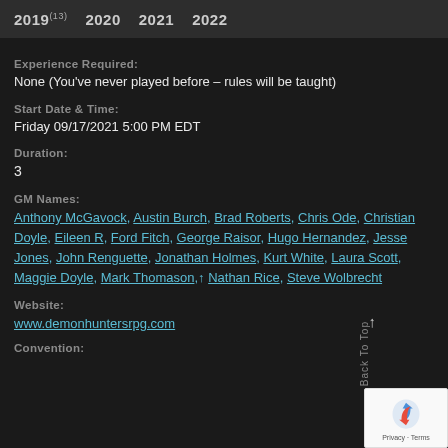2019(13) 2020 2021 2022
Experience Required:
None (You've never played before – rules will be taught)
Start Date & Time:
Friday 09/17/2021 5:00 PM EDT
Duration:
3
GM Names:
Anthony McGavock, Austin Burch, Brad Roberts, Chris Ode, Christian Doyle, Eileen R, Ford Fitch, George Raisor, Hugo Hernandez, Jesse Jones, John Renguette, Jonathan Holmes, Kurt White, Laura Scott, Maggie Doyle, Mark Thomason, Nathan Rice, Steve Wolbrecht
Website:
www.demonhuntersrpg.com
Convention: